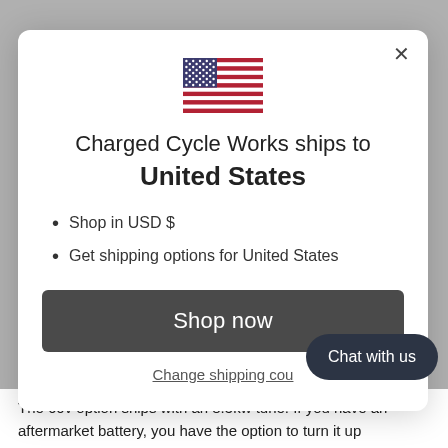[Figure (illustration): US flag emoji/icon centered at top of modal]
Charged Cycle Works ships to United States
Shop in USD $
Get shipping options for United States
Shop now
Change shipping cou...
Chat with us
The 60v option ships with an 8.5kw tune. If you have an aftermarket battery, you have the option to turn it up